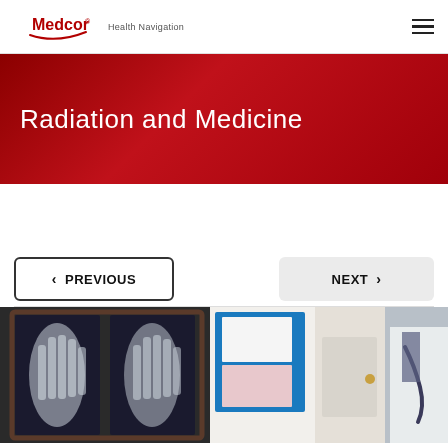Medcor Health Navigation
Radiation and Medicine
PREVIOUS
NEXT
[Figure (photo): Doctor reviewing X-ray images of a hand on a display screen, with blue medical folders in the background and a physician in a white coat on the right.]